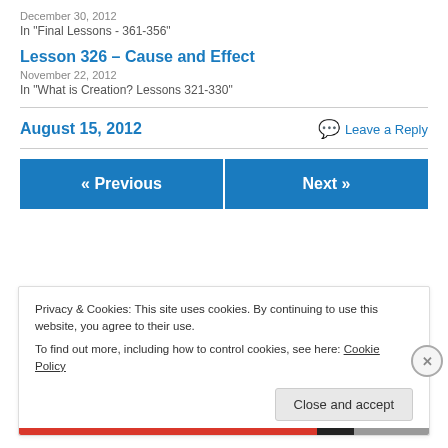December 30, 2012
In "Final Lessons - 361-356"
Lesson 326 – Cause and Effect
November 22, 2012
In "What is Creation? Lessons 321-330"
August 15, 2012
Leave a Reply
« Previous
Next »
Privacy & Cookies: This site uses cookies. By continuing to use this website, you agree to their use.
To find out more, including how to control cookies, see here: Cookie Policy
Close and accept